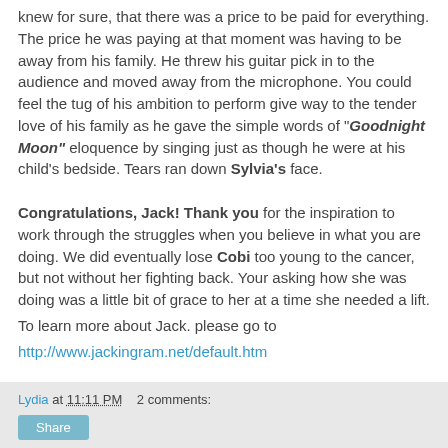knew for sure, that there was a price to be paid for everything. The price he was paying at that moment was having to be away from his family. He threw his guitar pick in to the audience and moved away from the microphone. You could feel the tug of his ambition to perform give way to the tender love of his family as he gave the simple words of "Goodnight Moon" eloquence by singing just as though he were at his child's bedside. Tears ran down Sylvia's face.
Congratulations, Jack! Thank you for the inspiration to work through the struggles when you believe in what you are doing. We did eventually lose Cobi too young to the cancer, but not without her fighting back. Your asking how she was doing was a little bit of grace to her at a time she needed a lift.
To learn more about Jack. please go to http://www.jackingram.net/default.htm
Lydia at 11:11 PM   2 comments: